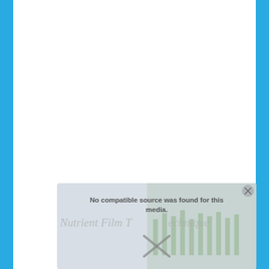[Figure (screenshot): A webpage screenshot showing a video player with an error message 'No compatible source was found for this media.' overlaid on what appears to be a hydroponic/Nutrient Film Technique garden video. The page has blue vertical bars on left and right sides. A close button (X) is visible in the top right of the video overlay. Text 'Nutrient Film Technique' is partially visible in italic style behind the overlay.]